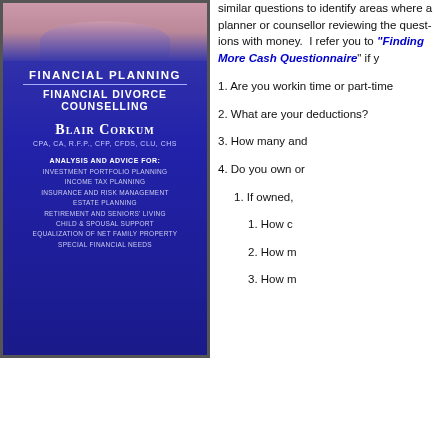[Figure (illustration): Book cover for Financial Planning / Financial Divorce Counselling by Blair Corkum, CPA, CA, R.F.P., CFP, CFDS, CLU, CHS. Blue background with photo at top. Lists services: Investment Portfolio Planning, Income Tax Planning, Insurance and Risk Management, Estate Planning, Retirement and Seniors' Living, Child & Spousal Support, Equalization of Net Family Property, Special Financial Needs.]
similar questions to identify areas where a planner or counsellor reviewing the questions with money. I refer you to "Finding More Cash Questionnaire" if y
1. Are you working full-time or part-time?
2. What are your gross deductions?
3. How many and...
4. Do you own or...
1. If owned,
1. How c
2. How m
3. How m